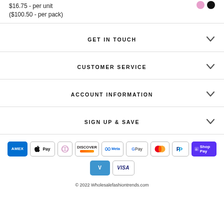$16.75 - per unit
($100.50 - per pack)
GET IN TOUCH
CUSTOMER SERVICE
ACCOUNT INFORMATION
SIGN UP & SAVE
[Figure (infographic): Payment method icons: American Express, Apple Pay, Diners Club, Discover, Meta Pay, Google Pay, Mastercard, PayPal, Shop Pay, Venmo, Visa]
© 2022 Wholesalefashiontrends.com